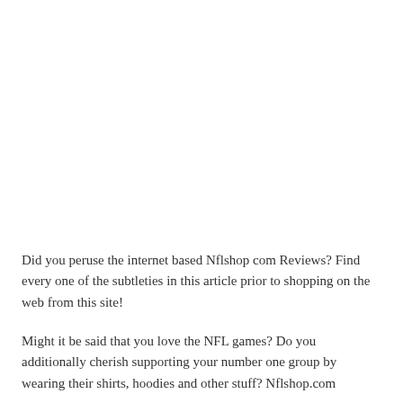Did you peruse the internet based Nflshop com Reviews? Find every one of the subtleties in this article prior to shopping on the web from this site!
Might it be said that you love the NFL games? Do you additionally cherish supporting your number one group by wearing their shirts, hoodies and other stuff? Nflshop.com